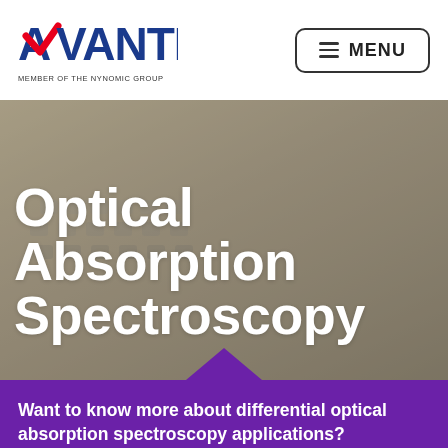[Figure (logo): Avantes logo with red chevron A, blue VANTES text, and subtitle MEMBER OF THE NYNOMIC GROUP]
[Figure (screenshot): Navigation menu button with hamburger icon and MENU text, rounded rectangle border]
[Figure (photo): Blurry auditorium/lecture hall background photo with text overlay: Optical Absorption Spectroscopy in large white bold font, purple chevron at bottom]
Want to know more about differential optical absorption spectroscopy applications?
We are happy to help you.